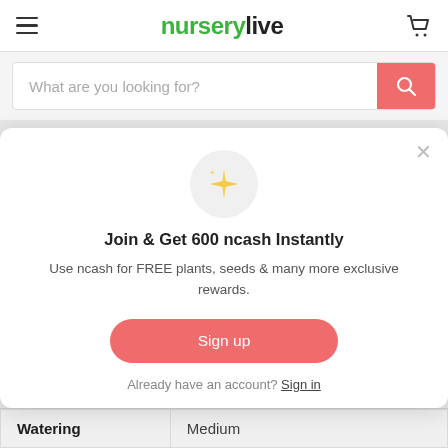nurserylive
What are you looking for?
Aglaonema Costatum Care
Join & Get 600 ncash Instantly
Use ncash for FREE plants, seeds & many more exclusive rewards.
Sign up
Already have an account? Sign in
| Watering |  |
| --- | --- |
| Watering | Medium |